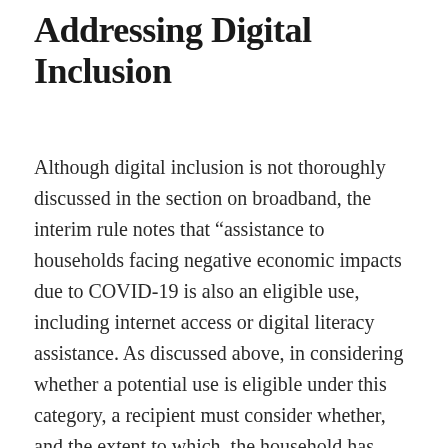Addressing Digital Inclusion
Although digital inclusion is not thoroughly discussed in the section on broadband, the interim rule notes that “assistance to households facing negative economic impacts due to COVID-19 is also an eligible use, including internet access or digital literacy assistance. As discussed above, in considering whether a potential use is eligible under this category, a recipient must consider whether, and the extent to which, the household has experienced a negative economic impact from the pandemic.” Elsewhere, the guidance